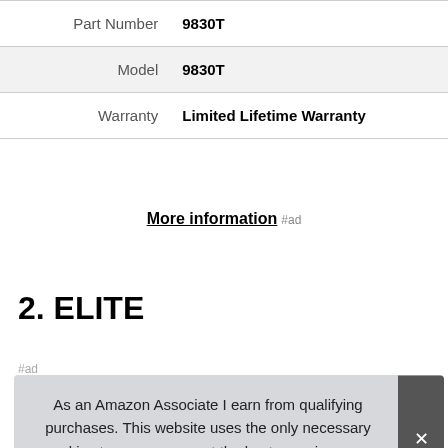| Part Number | 9830T |
| Model | 9830T |
| Warranty | Limited Lifetime Warranty |
More information #ad
2. ELITE
#ad
As an Amazon Associate I earn from qualifying purchases. This website uses the only necessary cookies to ensure you get the best experience on our website. More information